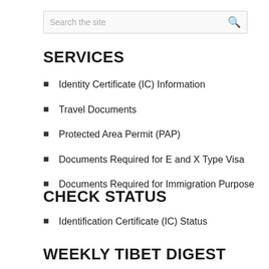SERVICES
Identity Certificate (IC) Information
Travel Documents
Protected Area Permit (PAP)
Documents Required for E and X Type Visa
Documents Required for Immigration Purpose
CHECK STATUS
Identification Certificate (IC) Status
WEEKLY TIBET DIGEST